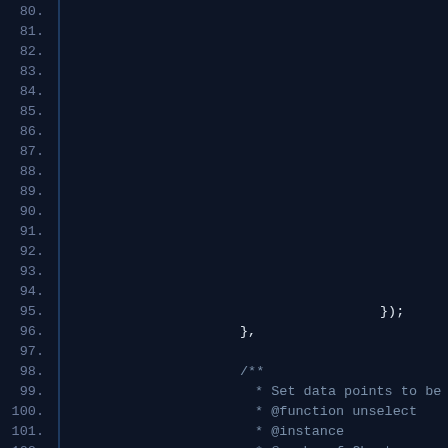[Figure (screenshot): Dark-themed code editor showing JavaScript source code, lines 80-102. Line numbers on left, code on right with syntax highlighting (yellow keywords, gray comments). Background is dark navy blue. Code shows const declarations, if/else statements, a }); closing, }, closing, JSDoc comment block starting with /** and lines: * Set data points to be un-se, * @function unselect, * @instance, * @memberof Chart]